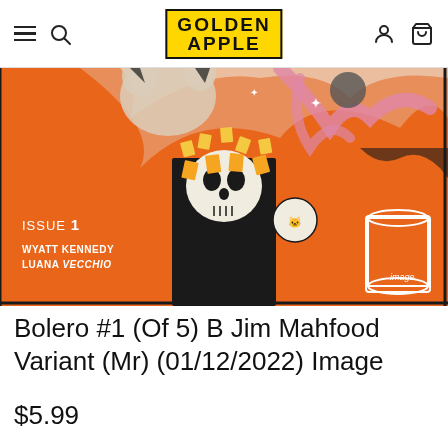Golden Apple — navigation header with hamburger menu, search icon, logo, account icon, and cart icon
[Figure (illustration): Comic book cover for Bolero #1 showing a skull figure with an orange background, cats, and psychedelic imagery. Text on cover reads: ISSUE 1, WYATT KENNEDY, LUANA VECCHIO, Image Comics logo.]
Bolero #1 (Of 5) B Jim Mahfood Variant (Mr) (01/12/2022) Image
$5.99